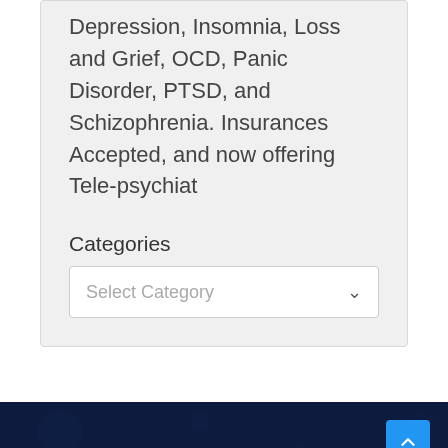Depression, Insomnia, Loss and Grief, OCD, Panic Disorder, PTSD, and Schizophrenia. Insurances Accepted, and now offering Tele-psychiat
Categories
[Figure (screenshot): A dropdown/select UI element with placeholder text 'Select Category' and a chevron arrow on the right]
Business Listings